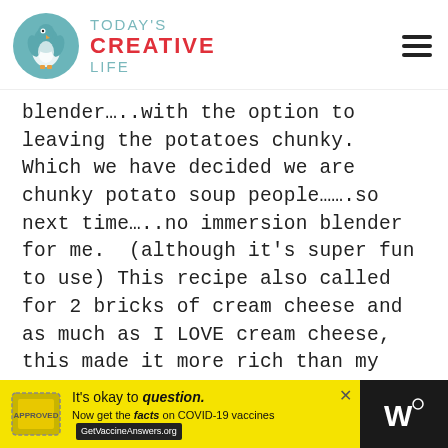TODAY'S CREATIVE LIFE
blender…..with the option to leaving the potatoes chunky. Which we have decided we are chunky potato soup people…….so next time…..no immersion blender for me. (although it's super fun to use) This recipe also called for 2 bricks of cream cheese and as much as I LOVE cream cheese, this made it more rich than my little tummy could handle, although it was DELICIOUS. The next time I make this, I'll try evaporated milk and just a small amount of cream cheese.
[Figure (other): COVID-19 vaccine advertisement banner: 'It's okay to question. Now get the facts on COVID-19 vaccines GetVaccineAnswers.org']